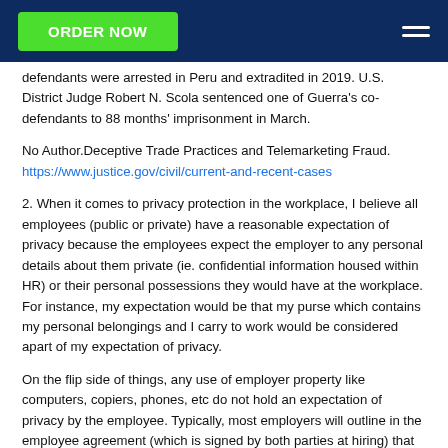ORDER NOW
defendants were arrested in Peru and extradited in 2019. U.S. District Judge Robert N. Scola sentenced one of Guerra's co-defendants to 88 months' imprisonment in March.
No Author.Deceptive Trade Practices and Telemarketing Fraud. https://www.justice.gov/civil/current-and-recent-cases
2. When it comes to privacy protection in the workplace, I believe all employees (public or private) have a reasonable expectation of privacy because the employees expect the employer to any personal details about them private (ie. confidential information housed within HR) or their personal possessions they would have at the workplace. For instance, my expectation would be that my purse which contains my personal belongings and I carry to work would be considered apart of my expectation of privacy.
On the flip side of things, any use of employer property like computers, copiers, phones, etc do not hold an expectation of privacy by the employee. Typically, most employers will outline in the employee agreement (which is signed by both parties at hiring) that they have the right to access your usage on company property. Also because of this agreement, managers do have the right to monitor employees' computers, phones, etc. We protect for the state of invasion of privacy into administrator it